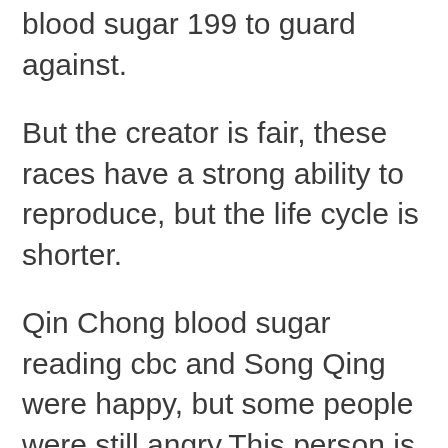blood sugar 199 to guard against.
But the creator is fair, these races have a strong ability to reproduce, but the life cycle is shorter.
Qin Chong blood sugar reading cbc and Song Qing were happy, but some people were still angry.This person is Lu Xinhan.
I will replace Senior Sister Xinyao and teach you a lesson.That kid is also pitiful.
If it was someone else, it would be better to say, but even a strong man like Lei Yan would low blood sugar on flagyl not look